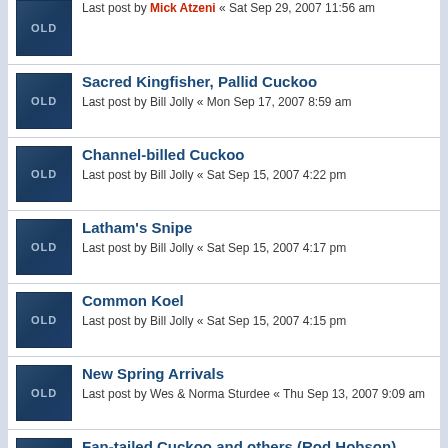Last post by Mick Atzeni « Sat Sep 29, 2007 11:56 am
Sacred Kingfisher, Pallid Cuckoo
Last post by Bill Jolly « Mon Sep 17, 2007 8:59 am
Channel-billed Cuckoo
Last post by Bill Jolly « Sat Sep 15, 2007 4:22 pm
Latham's Snipe
Last post by Bill Jolly « Sat Sep 15, 2007 4:17 pm
Common Koel
Last post by Bill Jolly « Sat Sep 15, 2007 4:15 pm
New Spring Arrivals
Last post by Wes & Norma Sturdee « Thu Sep 13, 2007 9:09 am
Fan-tailed Cuckoo and others (Rod Hobson)
Last post by Mick Atzeni « Wed Sep 12, 2007 7:56 pm